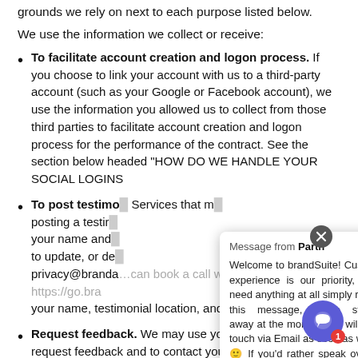grounds we rely on next to each purpose listed below.
We use the information we collect or receive:
To facilitate account creation and logon process. If you choose to link your account with us to a third-party account (such as your Google or Facebook account), we use the information you allowed us to collect from those third parties to facilitate account creation and logon process for the performance of the contract. See the section below headed “HOW DO WE HANDLE YOUR SOCIAL LOGINS”.
To post testimo... Services that m... posting a testir... your name and... to update, or de... privacy@branda... your name, testimonial location, and contact information.
Request feedback. We may use your information t... request feedback and to contact you about your use of...
Message from Parth
Welcome to brandSuite! Customer experience is our priority, if you need anything at all simply reply to this message, we’ve stepped away at the moment but will get in touch via Email as soon as we can 🙂 If you’d rather speak over the phone, you ...can book a call with us here: https://go.bra...